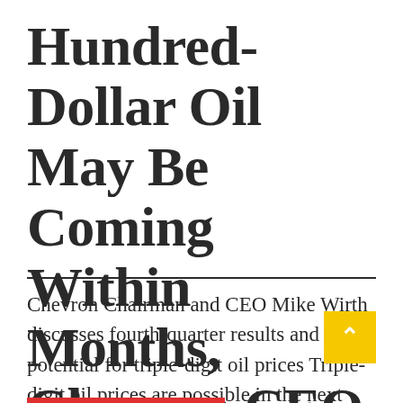Hundred-Dollar Oil May Be Coming Within Months, Chevron CEO Says
Chevron Chairman and CEO Mike Wirth discusses fourth-quarter results and the potential for triple-digit oil prices Triple-digit oil prices are possible in the next few months as geopolitical risks and